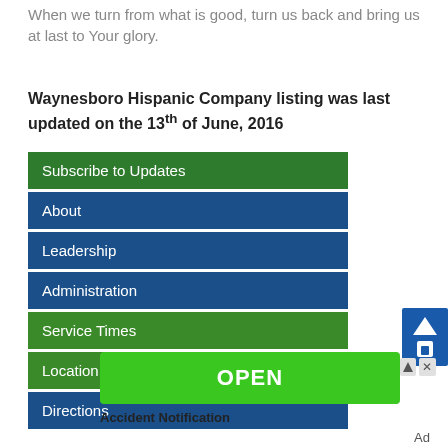When we turn from what is good, turn us back and bring us at last to Your glory.
Waynesboro Hispanic Company listing was last updated on the 13th of June, 2016
Subscribe to Updates
About
Leadership
Administration
Service Times
Location
Directions
[Figure (screenshot): Green OPEN button advertisement]
Accident Notification
Ad